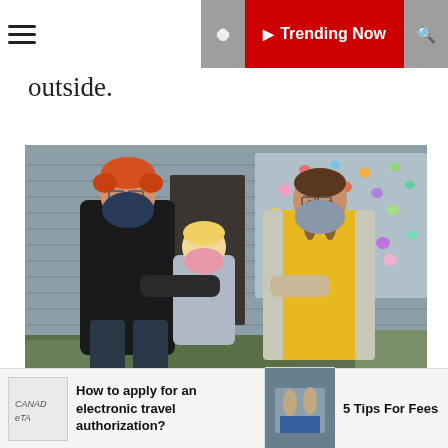☰  Trending Now
outside.
[Figure (photo): A family of three — a man with red hair and black mask, a toddler in a pink mask, and a woman with glasses and gray mask — standing outside in front of a house with colorful paper hearts displayed in the window.]
How to apply for an electronic travel authorization?
[Figure (photo): Thumbnail image of people near a sign]
5 Tips For Fees